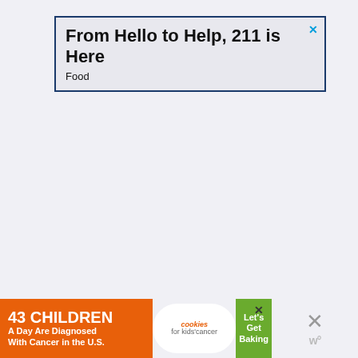[Figure (screenshot): Advertisement banner: 'From Hello to Help, 211 is Here' with subtitle 'Food', dark blue border, gray background, with a close (X) button in cyan/teal color]
[Figure (screenshot): Advertisement banner at bottom: '43 CHILDREN A Day Are Diagnosed With Cancer in the U.S.' with cookies for kids' cancer logo and 'Let's Get Baking' text on orange/green background. Has close X button and 'w°' logo to the right.]